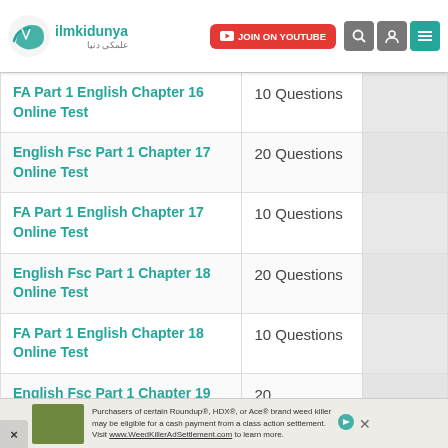ilmkidunya — JOIN ON YOUTUBE
| Test Name | Questions | Action |
| --- | --- | --- |
| FA Part 1 English Chapter 16 Online Test | 10 Questions |  |
| English Fsc Part 1 Chapter 17 Online Test | 20 Questions |  |
| FA Part 1 English Chapter 17 Online Test | 10 Questions |  |
| English Fsc Part 1 Chapter 18 Online Test | 20 Questions |  |
| FA Part 1 English Chapter 18 Online Test | 10 Questions |  |
| English Fsc Part 1 Chapter 19 Online (partial) | 20… |  |
Ad: Purchasers of certain Roundup®, HDX®, or Ace® brand weed killer may be eligible for a cash payment from a class action settlement. Visit www.WeedKillerAdSettlement.com to learn more.